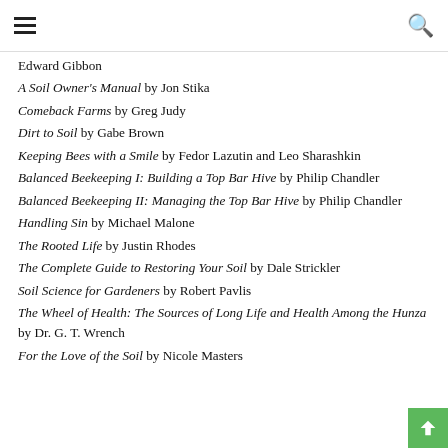Navigation header with hamburger menu and search icon
Edward Gibbon
A Soil Owner's Manual by Jon Stika
Comeback Farms by Greg Judy
Dirt to Soil by Gabe Brown
Keeping Bees with a Smile by Fedor Lazutin and Leo Sharashkin
Balanced Beekeeping I: Building a Top Bar Hive by Philip Chandler
Balanced Beekeeping II: Managing the Top Bar Hive by Philip Chandler
Handling Sin by Michael Malone
The Rooted Life by Justin Rhodes
The Complete Guide to Restoring Your Soil by Dale Strickler
Soil Science for Gardeners by Robert Pavlis
The Wheel of Health: The Sources of Long Life and Health Among the Hunza by Dr. G. T. Wrench
For the Love of the Soil by Nicole Masters